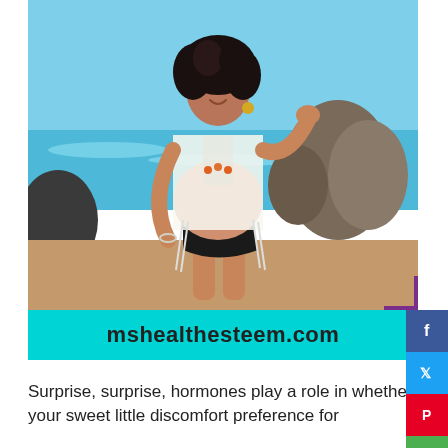[Figure (photo): Pregnant woman in a white lace cover-up and black bikini bottoms standing on a beach with rocks and ocean waves in the background. She has dark curly hair and is smiling. The image has a cyan banner at the bottom reading 'mshealthesteem.com' with purple bracket decorations and social media share buttons (Facebook, Twitter, Pinterest, Email) on the right side.]
Surprise, surprise, hormones play a role in whether your sweet little discomfort preference for...